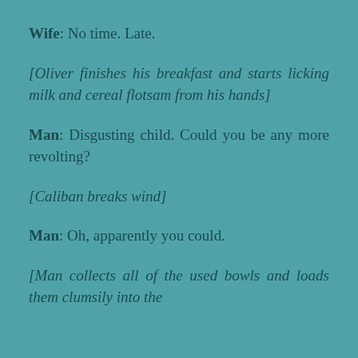Wife: No time. Late.
[Oliver finishes his breakfast and starts licking milk and cereal flotsam from his hands]
Man: Disgusting child. Could you be any more revolting?
[Caliban breaks wind]
Man: Oh, apparently you could.
[Man collects all of the used bowls and loads them clumsily into the